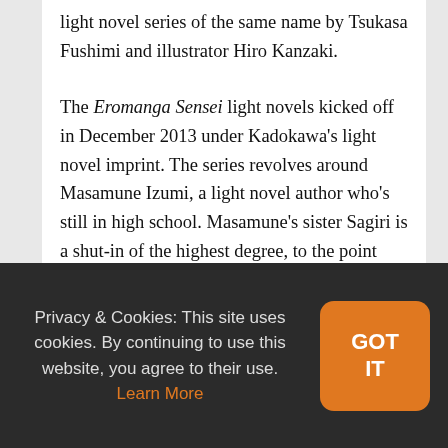light novel series of the same name by Tsukasa Fushimi and illustrator Hiro Kanzaki.
The Eromanga Sensei light novels kicked off in December 2013 under Kadokawa's light novel imprint. The series revolves around Masamune Izumi, a light novel author who's still in high school. Masamune's sister Sagiri is a shut-in of the highest degree, to the point that she hasn't left her room in a full year. The situation progresed as far as to force her brother to deliver meals when she stomps on the floor. Masamune, though, would like nothing more than to see his sister rejoin the outside world,
Privacy & Cookies: This site uses cookies. By continuing to use this website, you agree to their use. Learn More